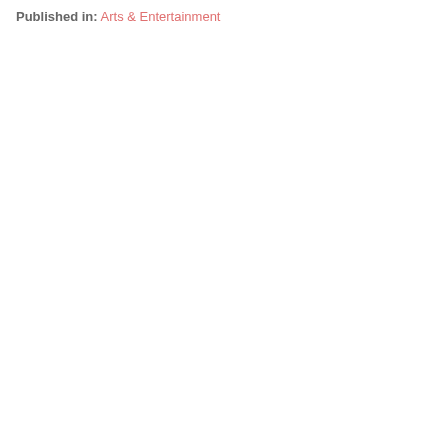Published in: Arts & Entertainment